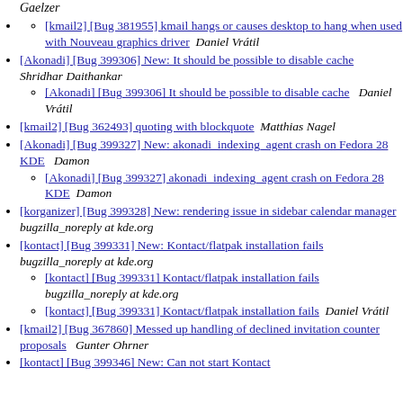[kmail2] [Bug 381955] kmail hangs or causes desktop to hang when used with Nouveau graphics driver  Daniel Vrátil
[Akonadi] [Bug 399306] New: It should be possible to disable cache   Shridhar Daithankar
[Akonadi] [Bug 399306] It should be possible to disable cache   Daniel Vrátil
[kmail2] [Bug 362493] quoting with blockquote   Matthias Nagel
[Akonadi] [Bug 399327] New: akonadi_indexing_agent crash on Fedora 28 KDE   Damon
[Akonadi] [Bug 399327] akonadi_indexing_agent crash on Fedora 28 KDE   Damon
[korganizer] [Bug 399328] New: rendering issue in sidebar calendar manager   bugzilla_noreply at kde.org
[kontact] [Bug 399331] New: Kontact/flatpak installation fails   bugzilla_noreply at kde.org
[kontact] [Bug 399331] Kontact/flatpak installation fails   bugzilla_noreply at kde.org
[kontact] [Bug 399331] Kontact/flatpak installation fails   Daniel Vrátil
[kmail2] [Bug 367860] Messed up handling of declined invitation counter proposals   Gunter Ohrner
[kontact] [Bug 399346] New: Can not start Kontact